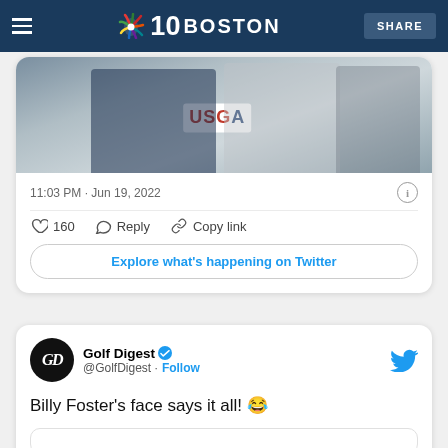NBC10 Boston | SHARE
[Figure (photo): Screenshot of a tweet with an embedded photo showing people wearing USGA jackets, dated 11:03 PM · Jun 19, 2022 with 160 likes, Reply, Copy link actions and Explore what's happening on Twitter button]
11:03 PM · Jun 19, 2022
160  Reply  Copy link
Explore what's happening on Twitter
[Figure (screenshot): Golf Digest @GolfDigest tweet with Follow button and Twitter bird logo]
Golf Digest @GolfDigest · Follow
Billy Foster's face says it all! 😂